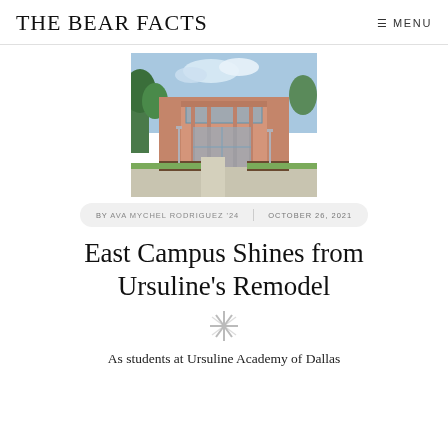THE BEAR FACTS
[Figure (photo): Exterior photo of a modern brick building with large windows and green landscaping, walkway visible in foreground]
BY AVA MYCHEL RODRIGUEZ '24   OCTOBER 26, 2021
East Campus Shines from Ursuline's Remodel
As students at Ursuline Academy of Dallas